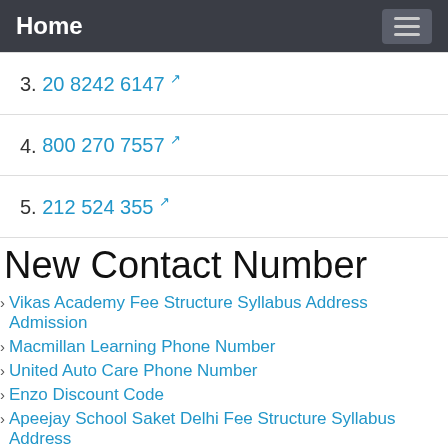Home
3. 20 8242 6147
4. 800 270 7557
5. 212 524 355
New Contact Number
Vikas Academy Fee Structure Syllabus Address Admission
Macmillan Learning Phone Number
United Auto Care Phone Number
Enzo Discount Code
Apeejay School Saket Delhi Fee Structure Syllabus Address
Inlingua Fee Structure Syllabus Address Admission Form